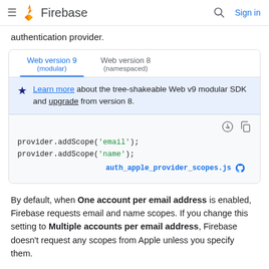Firebase
authentication provider.
Web version 9 (modular) | Web version 8 (namespaced) — tabs
Learn more about the tree-shakeable Web v9 modular SDK and upgrade from version 8.
provider.addScope('email');
provider.addScope('name');
auth_apple_provider_scopes.js
By default, when One account per email address is enabled, Firebase requests email and name scopes. If you change this setting to Multiple accounts per email address, Firebase doesn't request any scopes from Apple unless you specify them.